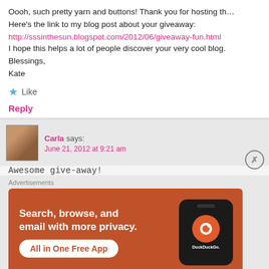Oooh, such pretty yarn and buttons! Thank you for hosting th… Here's the link to my blog post about your giveaway:
http://sssinthesun.blogspot.com/2012/06/giveaway-fun.html
I hope this helps a lot of people discover your very cool blog. Blessings, Kate
★ Like
Reply
Carla says:
June 21, 2012 at 9:21 am
Awesome give-away!
Advertisements
[Figure (screenshot): DuckDuckGo advertisement banner with text 'Search, browse, and email with more privacy. All in One Free App' and phone mockup with DuckDuckGo logo]